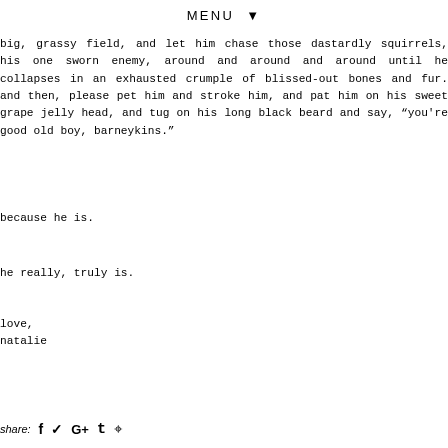MENU ▼
big, grassy field, and let him chase those dastardly squirrels, his one sworn enemy, around and around and around until he collapses in an exhausted crumple of blissed-out bones and fur. and then, please pet him and stroke him, and pat him on his sweet grape jelly head, and tug on his long black beard and say, "you're good old boy, barneykins."
because he is.
he really, truly is.
love,
natalie
share: f  ❧  G+  t  ⊕